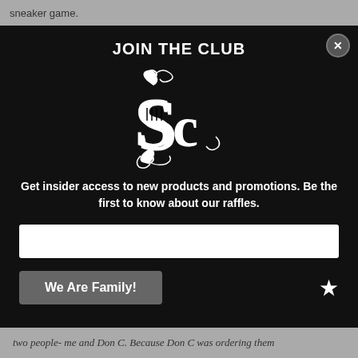sneaker game.
JOIN THE CLUB
[Figure (logo): Ornate gothic-style 'SC' monogram logo in white on black background]
Get insider access to new products and promotions. Be the first to know about our raffles.
two people- me and Don C. Because Don C was ordering them